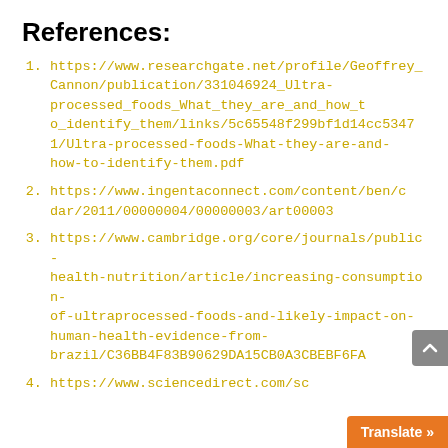References:
https://www.researchgate.net/profile/Geoffrey_Cannon/publication/331046924_Ultra-processed_foods_What_they_are_and_how_to_identify_them/links/5c65548f299bf1d14cc53471/Ultra-processed-foods-What-they-are-and-how-to-identify-them.pdf
https://www.ingentaconnect.com/content/ben/cdar/2011/00000004/00000003/art00003
https://www.cambridge.org/core/journals/public-health-nutrition/article/increasing-consumption-of-ultraprocessed-foods-and-likely-impact-on-human-health-evidence-from-brazil/C36BB4F83B90629DA15CB0A3CBEBF6FA
https://www.sciencedirect.com/sc...